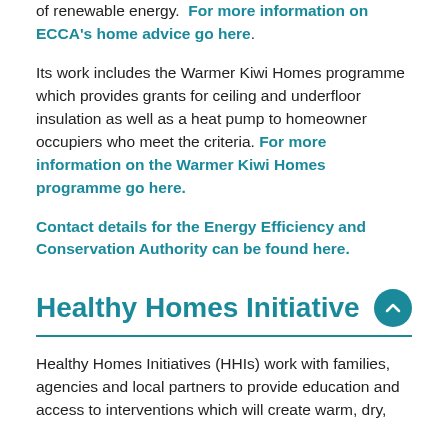of renewable energy.  For more information on ECCA's home advice go here.
Its work includes the Warmer Kiwi Homes programme which provides grants for ceiling and underfloor insulation as well as a heat pump to homeowner occupiers who meet the criteria. For more information on the Warmer Kiwi Homes programme go here.
Contact details for the Energy Efficiency and Conservation Authority can be found here.
Healthy Homes Initiative
Healthy Homes Initiatives (HHIs) work with families, agencies and local partners to provide education and access to interventions which will create warm, dry,